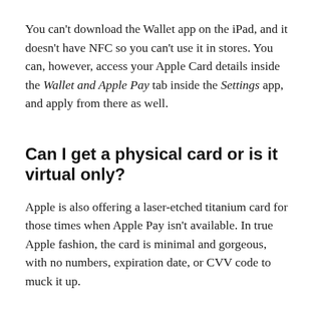You can't download the Wallet app on the iPad, and it doesn't have NFC so you can't use it in stores. You can, however, access your Apple Card details inside the Wallet and Apple Pay tab inside the Settings app, and apply from there as well.
Can I get a physical card or is it virtual only?
Apple is also offering a laser-etched titanium card for those times when Apple Pay isn't available. In true Apple fashion, the card is minimal and gorgeous, with no numbers, expiration date, or CVV code to muck it up.